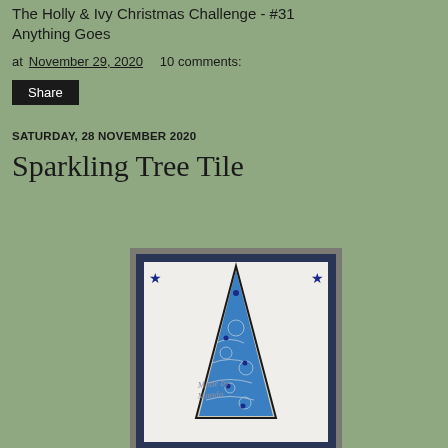The Holly & Ivy Christmas Challenge - #31 Anything Goes
at November 29, 2020   10 comments:
Share
SATURDAY, 28 NOVEMBER 2020
Sparkling Tree Tile
[Figure (photo): A handmade Christmas card featuring a tall, narrow blue Christmas tree decorated with snowflakes and gems on a white background with a navy blue border. Text reads 'Made by Manda'. Two blue stars are in the upper corners.]